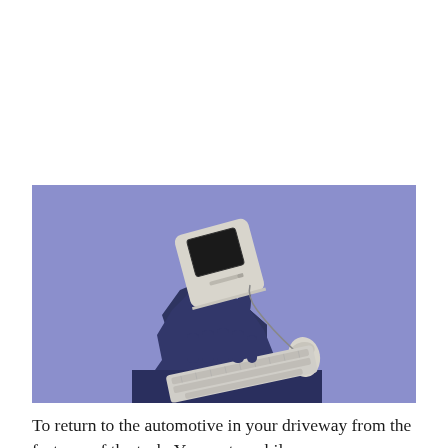[Figure (illustration): A 3D illustrated image on a periwinkle/lavender blue background showing a retro Macintosh-style computer monitor held aloft, with a dark navy jagged shape emerging from below. A keyboard and mouse are also visible in the lower portion. The overall composition has a surreal, editorial illustration style.]
To return to the automotive in your driveway from the features of the tech. Your automobile